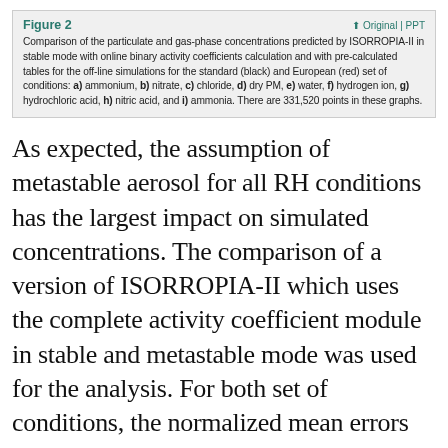Figure 2 | Original | PPT
Comparison of the particulate and gas-phase concentrations predicted by ISORROPIA-II in stable mode with online binary activity coefficients calculation and with pre-calculated tables for the off-line simulations for the standard (black) and European (red) set of conditions: a) ammonium, b) nitrate, c) chloride, d) dry PM, e) water, f) hydrogen ion, g) hydrochloric acid, h) nitric acid, and i) ammonia. There are 331,520 points in these graphs.
As expected, the assumption of metastable aerosol for all RH conditions has the largest impact on simulated concentrations. The comparison of a version of ISORROPIA-II which uses the complete activity coefficient module in stable and metastable mode was used for the analysis. For both set of conditions, the normalized mean errors range from 41% for chloride to 24% for nitric acid (Table 2). Water mean error was equal to 42% for the standard set of conditions and